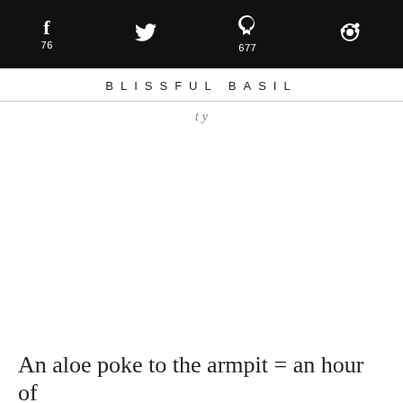f 76 | (twitter bird) | p 677 | (reddit icon)
BLISSFUL BASIL
An aloe poke to the armpit = an hour of humility, a week's worth of pain + a forever–